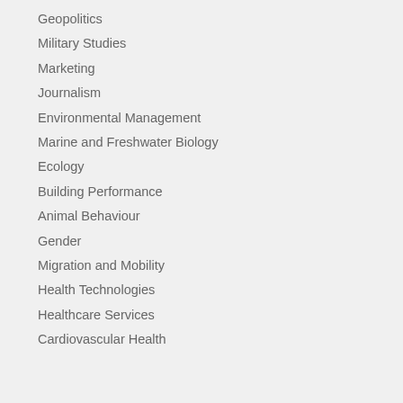Geopolitics
Military Studies
Marketing
Journalism
Environmental Management
Marine and Freshwater Biology
Ecology
Building Performance
Animal Behaviour
Gender
Migration and Mobility
Health Technologies
Healthcare Services
Cardiovascular Health